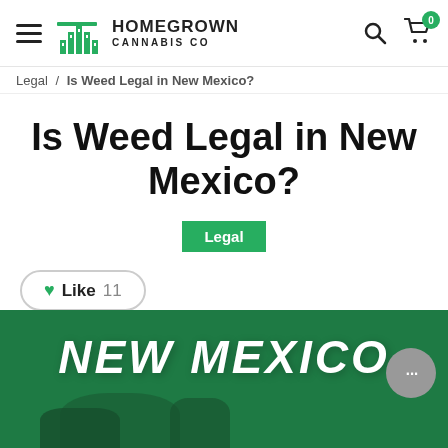Homegrown Cannabis Co — navigation header with hamburger menu, logo, search icon, and cart with badge 0
Legal / Is Weed Legal in New Mexico?
Is Weed Legal in New Mexico?
Legal
Like 11
[Figure (photo): Green background banner image with white bold italic text reading NEW MEXICO, with partial decorative graphic elements visible at bottom]